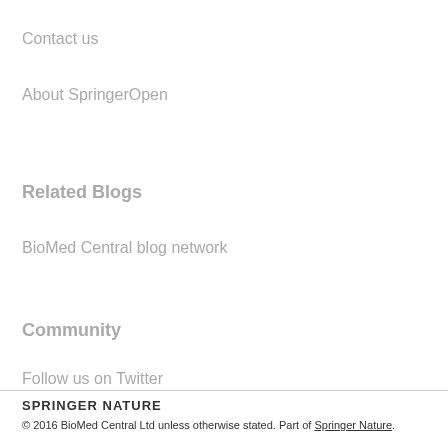Contact us
About SpringerOpen
Related Blogs
BioMed Central blog network
Community
Follow us on Twitter
Follow us on Google+
SPRINGER NATURE
© 2016 BioMed Central Ltd unless otherwise stated. Part of Springer Nature.